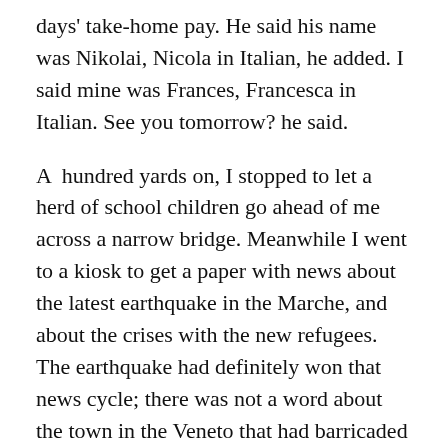days' take-home pay. He said his name was Nikolai, Nicola in Italian, he added. I said mine was Frances, Francesca in Italian. See you tomorrow? he said.
A  hundred yards on, I stopped to let a herd of school children go ahead of me across a narrow bridge. Meanwhile I went to a kiosk to get a paper with news about the latest earthquake in the Marche, and about the crises with the new refugees. The earthquake had definitely won that news cycle; there was not a word about the town in the Veneto that had barricaded its streets against the arrival of a dozen refugee women and children to be billeted in an empty hotel.
The vendor gave me two papers even after I had said, conversationally, that my husband usually bought the Gazzettino so I would only take La Repubblica. I said that I